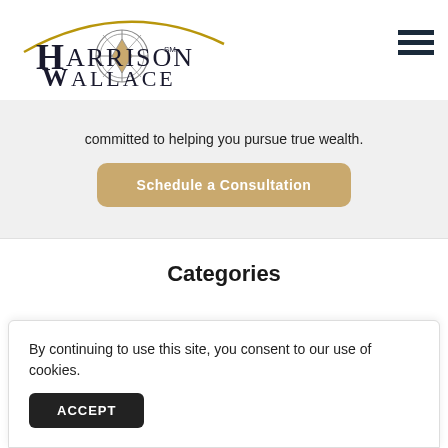[Figure (logo): Harrison Wallace logo with compass rose graphic and curved arc above]
committed to helping you pursue true wealth.
Schedule a Consultation
Categories
ALL
By continuing to use this site, you consent to our use of cookies.
ACCEPT